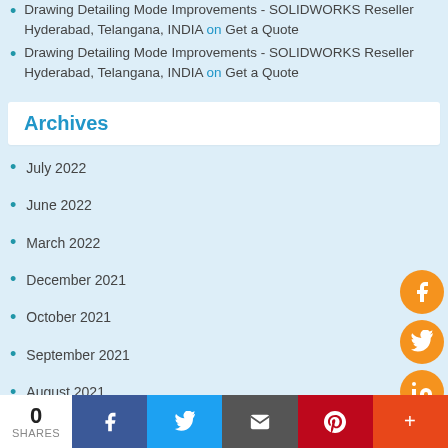Drawing Detailing Mode Improvements - SOLIDWORKS Reseller Hyderabad, Telangana, INDIA on Get a Quote
Drawing Detailing Mode Improvements - SOLIDWORKS Reseller Hyderabad, Telangana, INDIA on Get a Quote
Archives
July 2022
June 2022
March 2022
December 2021
October 2021
September 2021
August 2021
July 2021